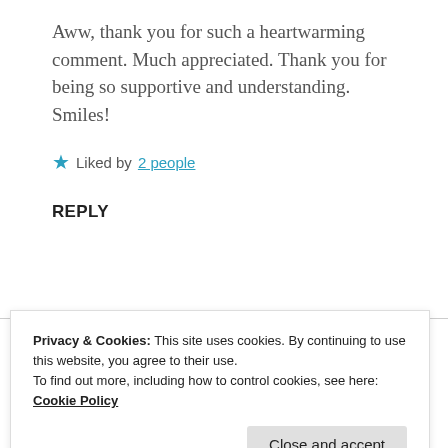Aww, thank you for such a heartwarming comment. Much appreciated. Thank you for being so supportive and understanding. Smiles!
★ Liked by 2 people
REPLY
Advertisements
Privacy & Cookies: This site uses cookies. By continuing to use this website, you agree to their use.
To find out more, including how to control cookies, see here: Cookie Policy
Close and accept